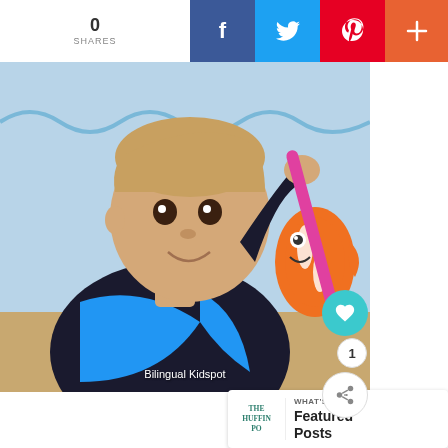0
SHARES
[Figure (photo): Young toddler boy in black and blue striped long-sleeve shirt, holding a pink stick/tube, smiling at camera. Background shows colorful Finding Nemo themed wall decorations with Nemo clownfish. Caption reads 'Bilingual Kidspot'.]
Bilingual Kidspot
1
WHAT'S NEXT → Featured Posts